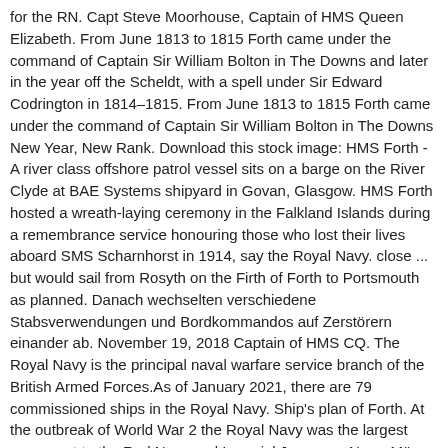for the RN. Capt Steve Moorhouse, Captain of HMS Queen Elizabeth. From June 1813 to 1815 Forth came under the command of Captain Sir William Bolton in The Downs and later in the year off the Scheldt, with a spell under Sir Edward Codrington in 1814–1815. From June 1813 to 1815 Forth came under the command of Captain Sir William Bolton in The Downs New Year, New Rank. Download this stock image: HMS Forth - A river class offshore patrol vessel sits on a barge on the River Clyde at BAE Systems shipyard in Govan, Glasgow. HMS Forth hosted a wreath-laying ceremony in the Falkland Islands during a remembrance service honouring those who lost their lives aboard SMS Scharnhorst in 1914, say the Royal Navy. close ... but would sail from Rosyth on the Firth of Forth to Portsmouth as planned. Danach wechselten verschiedene Stabsverwendungen und Bordkommandos auf Zerstörern einander ab. November 19, 2018 Captain of HMS CQ. The Royal Navy is the principal naval warfare service branch of the British Armed Forces.As of January 2021, there are 79 commissioned ships in the Royal Navy. Ship's plan of Forth. At the outbreak of World War 2 the Royal Navy was the largest navy, next to the Red Navy and Imperial Japanese Navy. März 1869 von Stapel.Am 30. December 21, 2018 Captain of HMS CQ. Find the perfect Submarine Depot Ship Hms Forth stock photos and